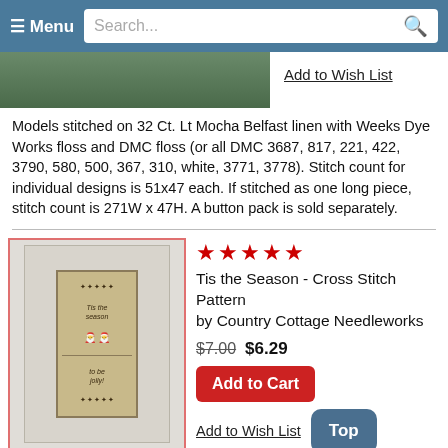≡ Menu  Search...
Add to Wish List
Models stitched on 32 Ct. Lt Mocha Belfast linen with Weeks Dye Works floss and DMC floss (or all DMC 3687, 817, 221, 422, 3790, 580, 500, 367, 310, white, 3771, 3778). Stitch count for individual designs is 51x47 each. If stitched as one long piece, stitch count is 271W x 47H. A button pack is sold separately.
[Figure (photo): Cross stitch pattern photo showing 'Tis the Season' design with Santa figures in a white frame]
★★★★★
Tis the Season - Cross Stitch Pattern
by Country Cottage Needleworks
$7.00 $6.29
Add to Cart
Add to Wish List
Model stitched over 2 threads on 32 Ct. Raw/Silver